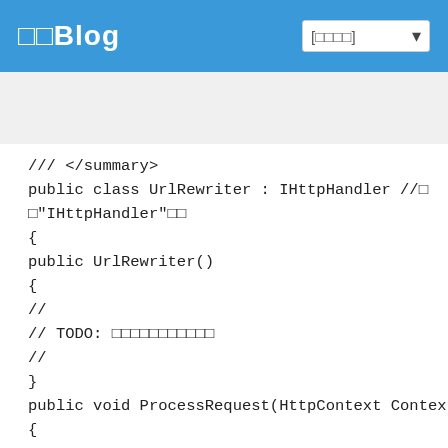□□Blog  [□□□□] ▾
/// </summary>
public class UrlRewriter : IHttpHandler //□
□"IHttpHandler"□□
{
public UrlRewriter()
{
//
// TODO: □□□□□□□□□□□
//
}
public void ProcessRequest(HttpContext Context)
{
try
{
//□□□□URL□□□□□
string Url = Context.Request.RawUrl;